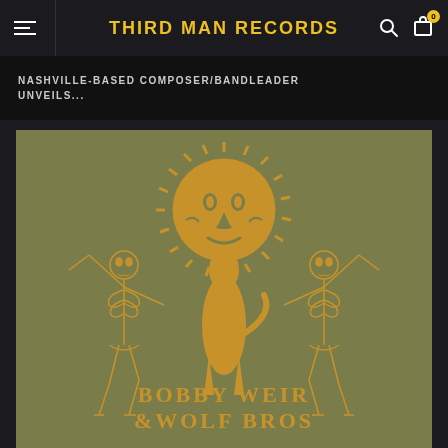THIRD MAN RECORDS
NASHVILLE-BASED COMPOSER/BANDLEADER UNVEILS...
[Figure (illustration): Album art for Bobby Weir & Wolf Bros on olive/khaki background. A golden sun illustration at top with a face, below it a howling wolf surrounded by two dancing skeletons. Text at bottom reads BOBBY WEIR & WOLF BROS in golden lettering.]